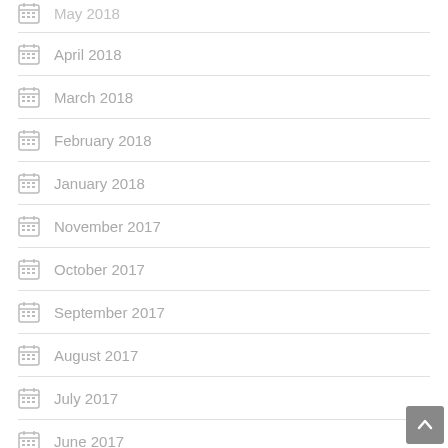May 2018 (partial)
April 2018
March 2018
February 2018
January 2018
November 2017
October 2017
September 2017
August 2017
July 2017
June 2017
May 2017